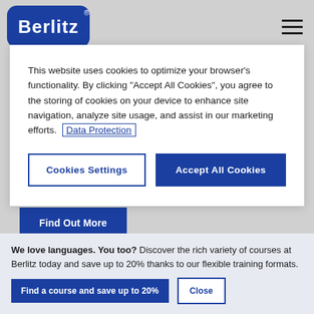[Figure (logo): Berlitz logo — white bold text on blue rounded rectangle with registered trademark symbol]
This website uses cookies to optimize your browser's functionality. By clicking "Accept All Cookies", you agree to the storing of cookies on your device to enhance site navigation, analyze site usage, and assist in our marketing efforts. Data Protection
Cookies Settings
Accept All Cookies
Aktivierungs- und Vermittlungsgutschein
Find Out More
We love languages. You too? Discover the rich variety of courses at Berlitz today and save up to 20% thanks to our flexible training formats.
Find a course and save up to 20%
Close